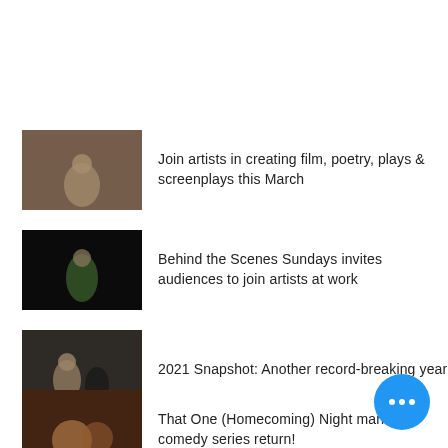Join artists in creating film, poetry, plays & screenplays this March
Behind the Scenes Sundays invites audiences to join artists at work
2021 Snapshot: Another record-breaking year
That One (Homecoming) Night marks comedy series return!